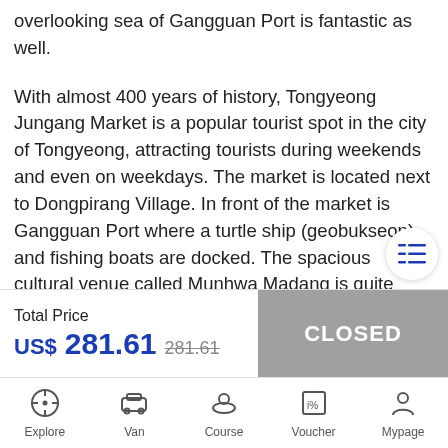overlooking sea of Gangguan Port is fantastic as well.
With almost 400 years of history, Tongyeong Jungang Market is a popular tourist spot in the city of Tongyeong, attracting tourists during weekends and even on weekdays. The market is located next to Dongpirang Village. In front of the market is Gangguan Port where a turtle ship (geobukseon) and fishing boats are docked. The spacious cultural venue called Munhwa Madang is quite reminiscent of Byeongseon Madang, a place for anchoring or mooring warships in the past. As the market is located close to the coastline, fresh fish and dried marine products make up a huge part of the market's offerings. Here,
Total Price
US$ 281.61  281.61
CLOSED
Explore  Van  Course  Voucher  Mypage